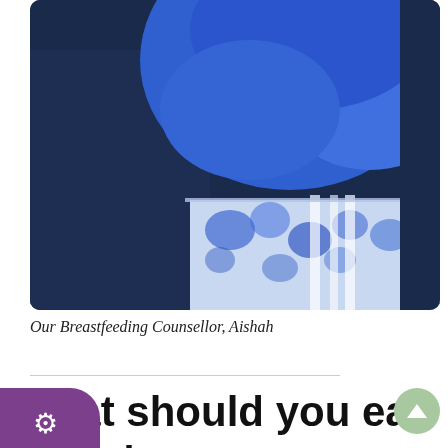[Figure (photo): A person wearing a bright royal blue hijab/headscarf draped over a navy blue outfit with a white and blue floral embroidered garment visible underneath. The image is cropped showing only the neck and upper torso area.]
Our Breastfeeding Counsellor, Aishah
What should you eat if you're breastfeeding?